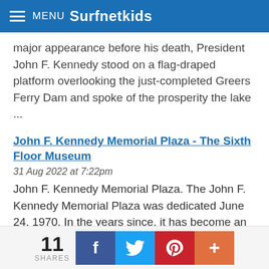MENU Surfnetkids
major appearance before his death, President John F. Kennedy stood on a flag-draped platform overlooking the just-completed Greers Ferry Dam and spoke of the prosperity the lake ...
John F. Kennedy Memorial Plaza - The Sixth Floor Museum
31 Aug 2022 at 7:22pm
John F. Kennedy Memorial Plaza. The John F. Kennedy Memorial Plaza was dedicated June 24, 1970. In the years since, it has become an integral part of the city?s urban landscape and cultural heritage. It is located one block east of Dealey Plaza, between Main and Commerce streets, on land donated by Dallas County.
11 SHARES